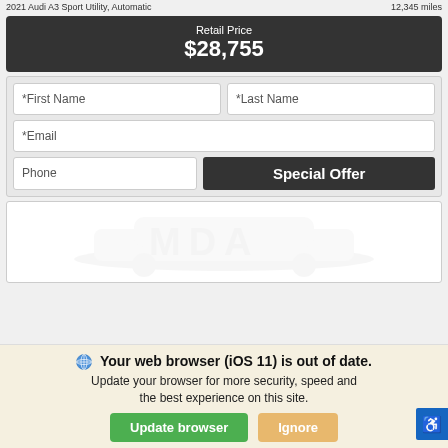Retail Price
$28,755
[Figure (screenshot): Web form with First Name, Last Name, Email, Phone fields and a Special Offer button]
[Figure (photo): Faded placeholder image of a car/SUV watermark]
Your web browser (iOS 11) is out of date. Update your browser for more security, speed and the best experience on this site.
Update browser | Ignore